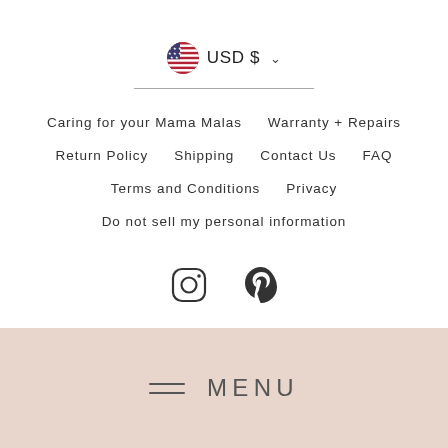[Figure (other): US flag circle icon with USD $ currency selector and chevron dropdown arrow]
Caring for your Mama Malas    Warranty + Repairs
Return Policy    Shipping    Contact Us    FAQ
Terms and Conditions    Privacy
Do not sell my personal information
[Figure (other): Instagram icon and Pinterest icon (social media icons)]
© 2022 Mama Malas Photo Credits: @sofijaolson @namastetiff
≡ MENU